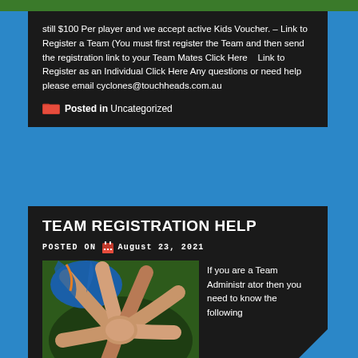still $100 Per player and we accept active Kids Voucher. – Link to Register a Team (You must first register the Team and then send the registration link to your Team Mates Click Here    Link to Register as an Individual Click Here Any questions or need help please email cyclones@touchheads.com.au
Posted in Uncategorized
TEAM REGISTRATION HELP
Posted on  August 23, 2021
[Figure (photo): Photo of multiple hands stacked together in a team huddle gesture, people wearing sports jerseys]
If you are a Team Administrator then you need to know the following